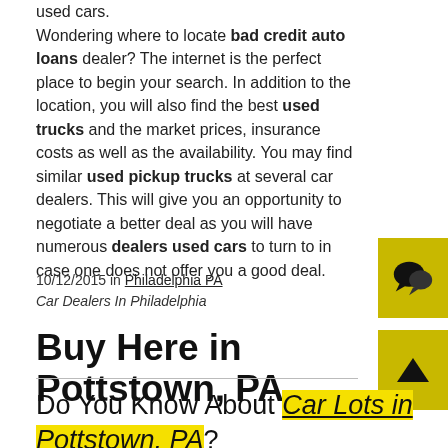used cars. Wondering where to locate bad credit auto loans dealer? The internet is the perfect place to begin your search. In addition to the location, you will also find the best used trucks and the market prices, insurance costs as well as the availability. You may find similar used pickup trucks at several car dealers. This will give you an opportunity to negotiate a better deal as you will have numerous dealers used cars to turn to in case one does not offer you a good deal.
10/12/2015 in Philadelphia PA
Car Dealers In Philadelphia
Buy Here in Pottstown, PA
Do You Know About Car Lots in Pottstown, PA?